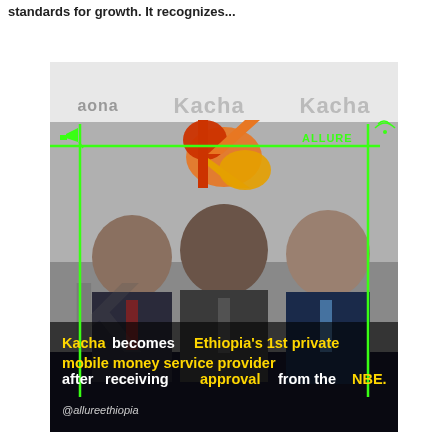standards for growth. It recognizes...
[Figure (photo): Three men in suits posing in front of a Kacha branded backdrop. The image has green accent lines overlaid, a megaphone icon, and an ALLURE watermark. At the bottom is a caption overlay.]
Kacha becomes Ethiopia's 1st private mobile money service provider after receiving approval from the NBE.
@allureethiopia